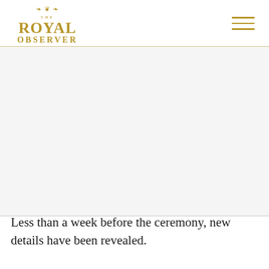THE ROYAL OBSERVER
[Figure (photo): Large image area (white/blank placeholder) below the header navigation bar]
Less than a week before the ceremony, new details have been revealed.